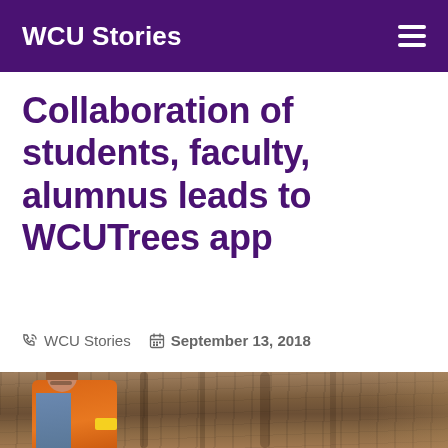WCU Stories
Collaboration of students, faculty, alumnus leads to WCUTrees app
WCU Stories  September 13, 2018
[Figure (photo): A student wearing an orange safety vest examining or tagging a large tree trunk outdoors, with green foliage visible in the background.]